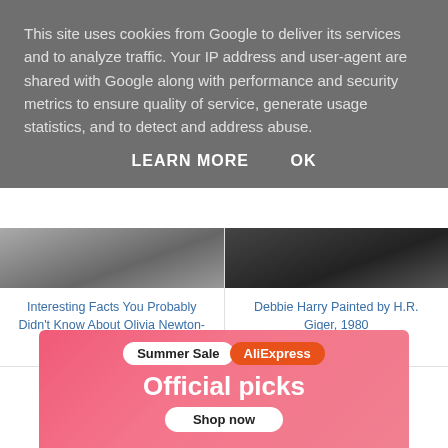This site uses cookies from Google to deliver its services and to analyze traffic. Your IP address and user-agent are shared with Google along with performance and security metrics to ensure quality of service, generate usage statistics, and to detect and address abuse.
LEARN MORE   OK
[Figure (photo): Grayscale photo thumbnail (left column)]
Interesting Facts You Probably Didn't Know About Olivia Newton-John
[Figure (photo): Dark grayscale photo thumbnail (right column)]
Debbie Harry Painted by H.R. Giger, 1980
[Figure (infographic): AliExpress Summer Sale advertisement banner with 'Summer Sale AliExpress' badge, 'Official picks' heading, and 'Shop now' button on pink/red gradient background]